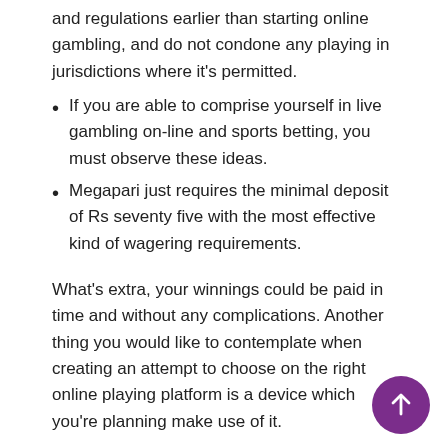and regulations earlier than starting online gambling, and do not condone any playing in jurisdictions where it's permitted.
If you are able to comprise yourself in live gambling on-line and sports betting, you must observe these ideas.
Megapari just requires the minimal deposit of Rs seventy five with the most effective kind of wagering requirements.
What's extra, your winnings could be paid in time and without any complications. Another thing you would like to contemplate when creating an attempt to choose on the right online playing platform is a device which you're planning make use of it.
Many Varieties Of Gambling bets On American indian Betting Sites
The platform themselves is licensed by Curacao e-Gaming Authority which is available to Indian punters. Android users may